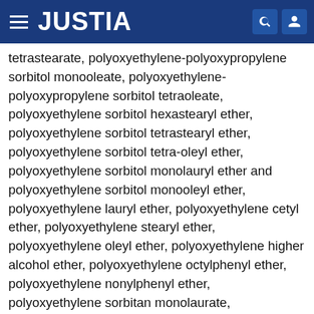JUSTIA
tetrastearate, polyoxyethylene-polyoxypropylene sorbitol monooleate, polyoxyethylene-polyoxypropylene sorbitol tetraoleate, polyoxyethylene sorbitol hexastearyl ether, polyoxyethylene sorbitol tetrastearyl ether, polyoxyethylene sorbitol tetra-oleyl ether, polyoxyethylene sorbitol monolauryl ether and polyoxyethylene sorbitol monooleyl ether, polyoxyethylene lauryl ether, polyoxyethylene cetyl ether, polyoxyethylene stearyl ether, polyoxyethylene oleyl ether, polyoxyethylene higher alcohol ether, polyoxyethylene octylphenyl ether, polyoxyethylene nonylphenyl ether, polyoxyethylene sorbitan monolaurate, polyoxyethylene sorbitan monopalmitate, polyoxyethylene sorbitan monostearate, polyoxyethylene sorbitan tristearate, polyoxyethylene sorbitan monooleate, polyoxyethylene sorbitan trioleate, polyoxyethylene sorbitol tetraoleate